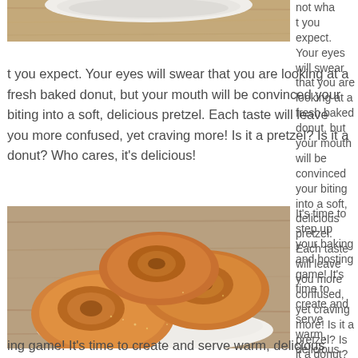[Figure (photo): Top portion of a plate with a donut/pretzel on a wooden surface, partially visible at the top of the page]
not what you expect. Your eyes will swear that you are looking at a fresh baked donut, but your mouth will be convinced your biting into a soft, delicious pretzel. Each taste will leave you more confused, yet craving more! Is it a pretzel? Is it a donut? Who cares, it's delicious!
[Figure (photo): Three golden-brown round pretzel-donuts (donuts shaped like pretzels) on a white plate on a wooden surface]
It's time to step up your baking and hosting game! It's time to create and serve warm, delicious